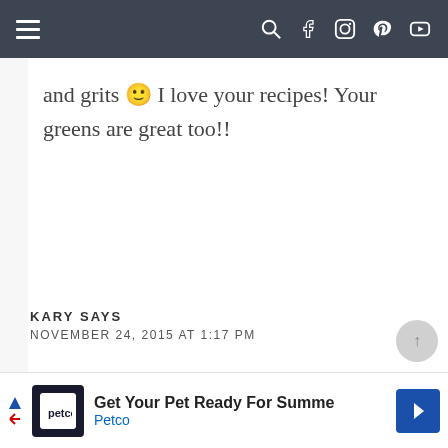Navigation bar with hamburger menu and social icons
and grits 🙂 I love your recipes! Your greens are great too!!
KARY SAYS
NOVEMBER 24, 2015 AT 1:17 PM
Get Your Pet Ready For Summe — Petco advertisement